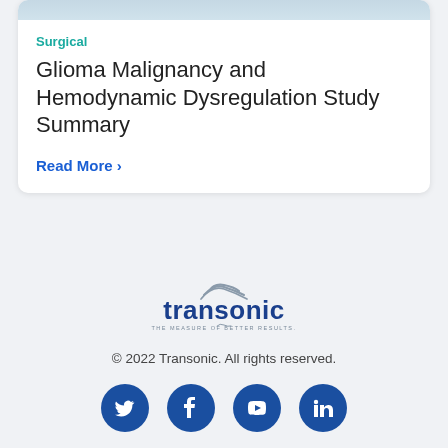[Figure (photo): Medical/surgical scene with blurred background, top portion of card]
Surgical
Glioma Malignancy and Hemodynamic Dysregulation Study Summary
Read More >
[Figure (logo): Transonic logo with tagline THE MEASURE OF BETTER RESULTS.]
© 2022 Transonic. All rights reserved.
[Figure (illustration): Social media icons: Twitter, Facebook, YouTube, LinkedIn]